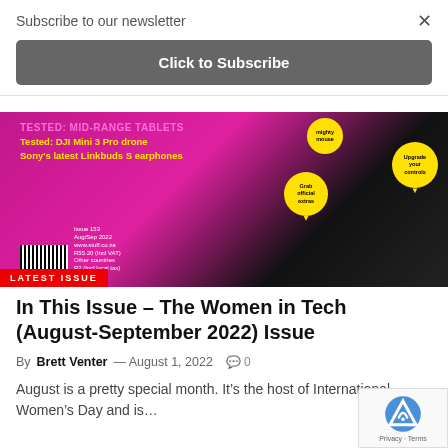Subscribe to our newsletter
Click to Subscribe
[Figure (photo): Magazine cover banner showing 'LATEST ISSUE' with text: Tested: mid-range tablets, Tested: DJI Mini 3 Pro drone, Sony's latest Linkbuds S earphones. Yellow badges: mighty mouse, Grab official extras, Upgrade your controls.]
In This Issue – The Women in Tech (August-September 2022) Issue
By Brett Venter — August 1, 2022   0
August is a pretty special month. It's the host of International Women's Day and is…